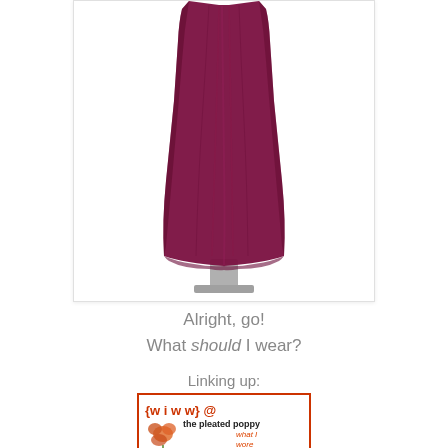[Figure (photo): Product photo of a long flowing burgundy/wine-colored maxi dress on a mannequin, shown from chest to floor on a white background]
Alright, go!
What should I wear?
Linking up:
[Figure (logo): WIWW badge for 'the pleated poppy' - What I Wore Wednesday link-up badge with orange floral illustration and text in red/orange/green colors]